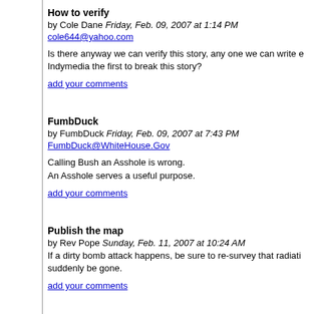How to verify
by Cole Dane Friday, Feb. 09, 2007 at 1:14 PM
cole644@yahoo.com
Is there anyway we can verify this story, any one we can write e Indymedia the first to break this story?
add your comments
FumbDuck
by FumbDuck Friday, Feb. 09, 2007 at 7:43 PM
FumbDuck@WhiteHouse.Gov
Calling Bush an Asshole is wrong.
An Asshole serves a useful purpose.
add your comments
Publish the map
by Rev Pope Sunday, Feb. 11, 2007 at 10:24 AM
If a dirty bomb attack happens, be sure to re-survey that radiati suddenly be gone.
add your comments